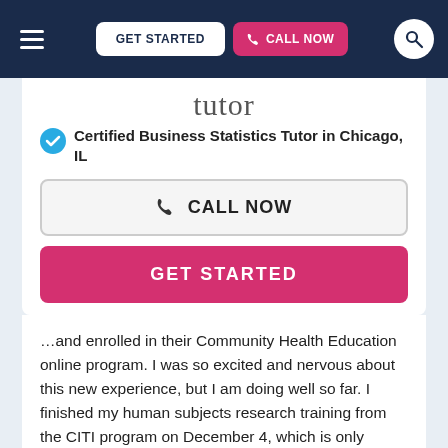GET STARTED | CALL NOW
tutor
Certified Business Statistics Tutor in Chicago, IL
CALL NOW
GET STARTED
…and enrolled in their Community Health Education online program. I was so excited and nervous about this new experience, but I am doing well so far. I finished my human subjects research training from the CITI program on December 4, which is only